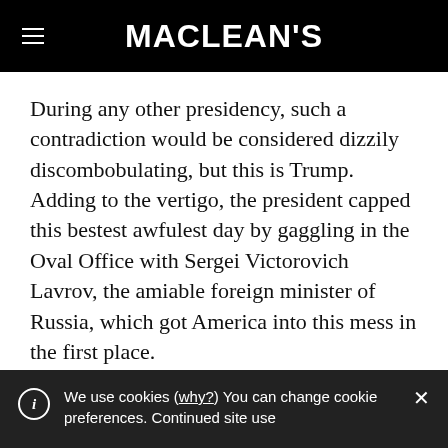MACLEAN'S
During any other presidency, such a contradiction would be considered dizzily discombobulating, but this is Trump. Adding to the vertigo, the president capped this bestest awfulest day by gaggling in the Oval Office with Sergei Victorovich Lavrov, the amiable foreign minister of Russia, which got America into this mess in the first place.
We use cookies (why?) You can change cookie preferences. Continued site use